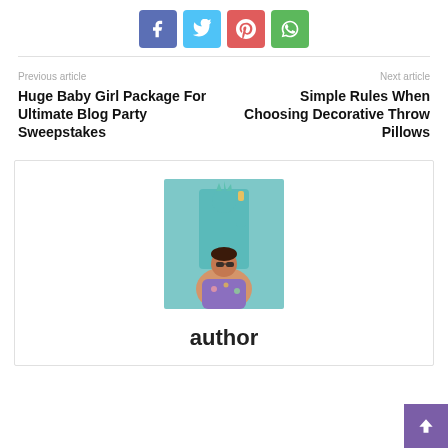[Figure (other): Social media share buttons: Facebook (blue), Twitter (cyan), Pinterest (red), WhatsApp (green)]
Previous article
Huge Baby Girl Package For Ultimate Blog Party Sweepstakes
Next article
Simple Rules When Choosing Decorative Throw Pillows
[Figure (photo): Author photo: woman with sunglasses posing in front of a teal Statue of Liberty replica]
author